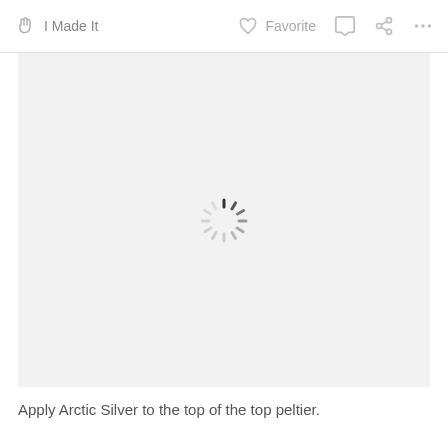I Made It   Favorite
[Figure (screenshot): Loading spinner (spinning wheel icon) centered on a light gray background, indicating an image is loading.]
Apply Arctic Silver to the top of the top peltier.